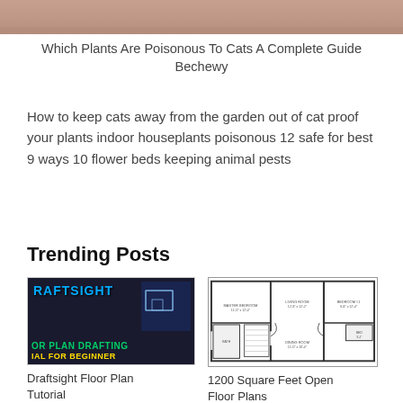[Figure (photo): Partial image of pink/orange fabric or clothing at top of page]
Which Plants Are Poisonous To Cats A Complete Guide Bechewy
How to keep cats away from the garden out of cat proof your plants indoor houseplants poisonous 12 safe for best 9 ways 10 flower beds keeping animal pests
Trending Posts
[Figure (screenshot): DraftSight 2021 floor plan drafting tutorial for beginner thumbnail - dark blue background with text]
[Figure (engineering-diagram): 1200 square feet open floor plan architectural drawing with room labels]
Draftsight Floor Plan Tutorial
1200 Square Feet Open Floor Plans